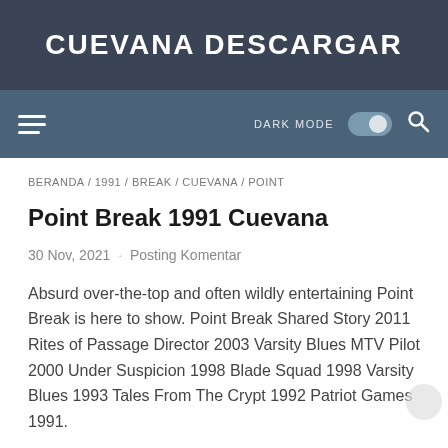CUEVANA DESCARGAR
≡  DARK MODE  🔘  🔍
BERANDA / 1991 / BREAK / CUEVANA / POINT
Point Break 1991 Cuevana
30 Nov, 2021  ·  Posting Komentar
Absurd over-the-top and often wildly entertaining Point Break is here to show. Point Break Shared Story 2011 Rites of Passage Director 2003 Varsity Blues MTV Pilot 2000 Under Suspicion 1998 Blade Squad 1998 Varsity Blues 1993 Tales From The Crypt 1992 Patriot Games 1991.